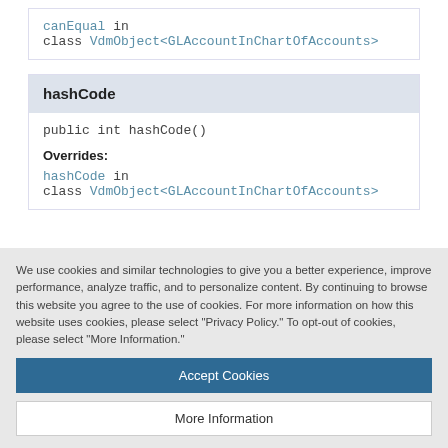canEqual in class VdmObject<GLAccountInChartOfAccounts>
hashCode
public int hashCode()
Overrides:
hashCode in class VdmObject<GLAccountInChartOfAccounts>
We use cookies and similar technologies to give you a better experience, improve performance, analyze traffic, and to personalize content. By continuing to browse this website you agree to the use of cookies. For more information on how this website uses cookies, please select "Privacy Policy." To opt-out of cookies, please select "More Information."
Accept Cookies
More Information
Privacy Policy | Powered by: TrustArc